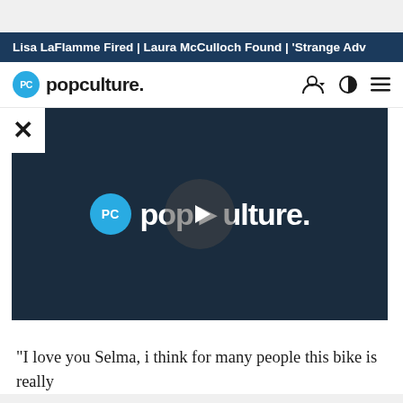Lisa LaFlamme Fired | Laura McCulloch Found | 'Strange Adv
[Figure (logo): Popculture.com navigation bar with PC logo circle, 'popculture.' wordmark, and icons for user account, theme toggle, and menu]
[Figure (screenshot): Video player with dark navy background showing the popculture. logo with a play button overlay in the center]
"I love you Selma, i think for many people this bike is really